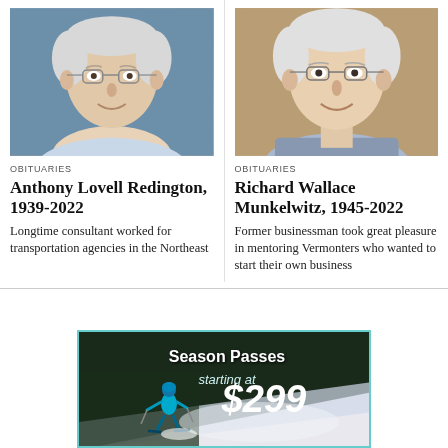[Figure (photo): Headshot of Anthony Lovell Redington, elderly man with glasses and short white hair, wearing a light blue shirt, photographed against a plain blue background.]
OBITUARIES
Anthony Lovell Redington, 1939-2022
Longtime consultant worked for transportation agencies in the Northeast
[Figure (photo): Portrait of Richard Wallace Munkelwitz, older man with glasses and white hair, smiling, photographed indoors with blurred background.]
OBITUARIES
Richard Wallace Munkelwitz, 1945-2022
Former businessman took great pleasure in mentoring Vermonters who wanted to start their own business
[Figure (illustration): Advertisement banner reading 'Season Passes starting at $299' with a skier on a snowy slope in the background.]